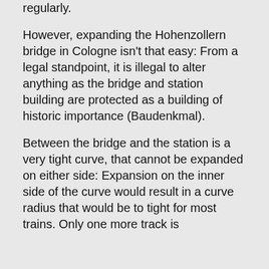regularly.
However, expanding the Hohenzollern bridge in Cologne isn’t that easy: From a legal standpoint, it is illegal to alter anything as the bridge and station building are protected as a building of historic importance (Baudenkmal).
Between the bridge and the station is a very tight curve, that cannot be expanded on either side: Expansion on the inner side of the curve would result in a curve radius that would be to tight for most trains. Only one more track is